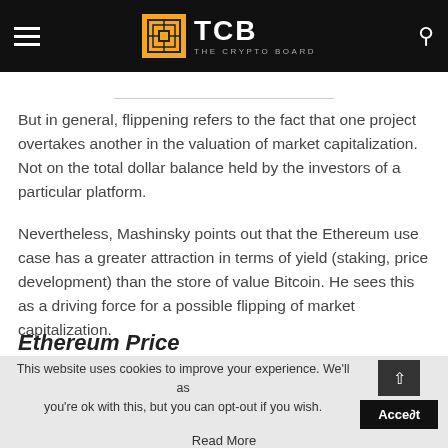TCB – The Crypto Board
But in general, flippening refers to the fact that one project overtakes another in the valuation of market capitalization. Not on the total dollar balance held by the investors of a particular platform.
Nevertheless, Mashinsky points out that the Ethereum use case has a greater attraction in terms of yield (staking, price development) than the store of value Bitcoin. He sees this as a driving force for a possible flipping of market capitalization.
Ethereum Price
This website uses cookies to improve your experience. We'll assume you're ok with this, but you can opt-out if you wish. Accept Read More